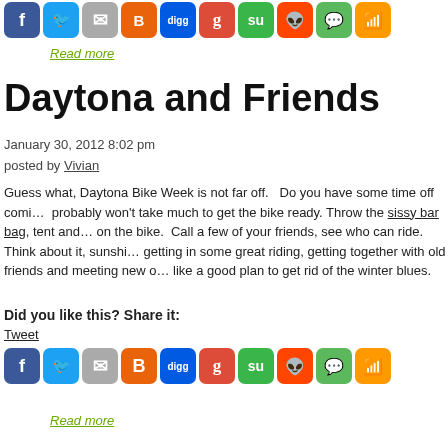[Figure (other): Row of social media sharing icons: Facebook, Twitter, Email, Blogger, Digg, Google+, StumbleUpon, Reddit, Chat, RSS]
Read more
Daytona and Friends
January 30, 2012 8:02 pm
posted by Vivian
Guess what, Daytona Bike Week is not far off.   Do you have some time off comi... probably won't take much to get the bike ready. Throw the sissy bar bag, tent and... on the bike.  Call a few of your friends, see who can ride.  Think about it, sunshine... getting in some great riding, getting together with old friends and meeting new on... like a good plan to get rid of the winter blues.
Did you like this? Share it:
Tweet
[Figure (other): Row of social media sharing icons: Facebook, Twitter, Email, Blogger, Digg, Google+, StumbleUpon, Reddit, Chat, RSS]
Read more